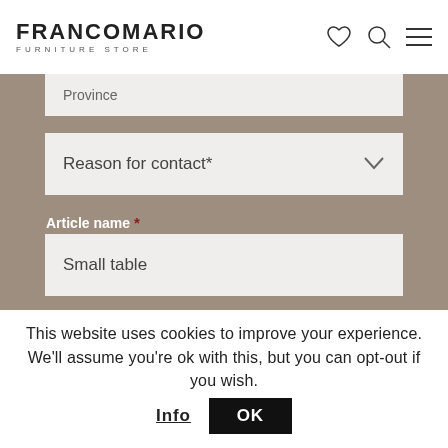FRANCOMARIO FURNITURE STORE
Province
Reason for contact*
Article name *
Small table
Article number *
5247
This website uses cookies to improve your experience. We'll assume you're ok with this, but you can opt-out if you wish. Info OK